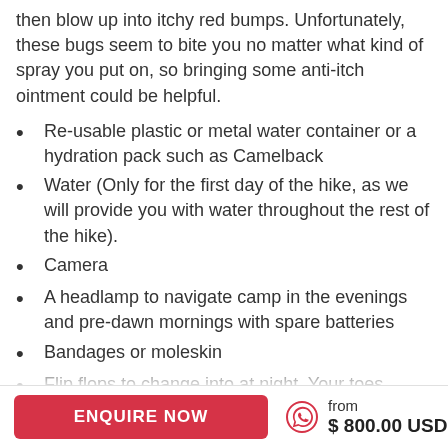then blow up into itchy red bumps. Unfortunately, these bugs seem to bite you no matter what kind of spray you put on, so bringing some anti-itch ointment could be helpful.
Re-usable plastic or metal water container or a hydration pack such as Camelback
Water (Only for the first day of the hike, as we will provide you with water throughout the rest of the hike).
Camera
A headlamp to navigate camp in the evenings and pre-dawn mornings with spare batteries
Bandages or moleskin
Flip flops to change into at night. Your toes
from
$ 800.00 USD